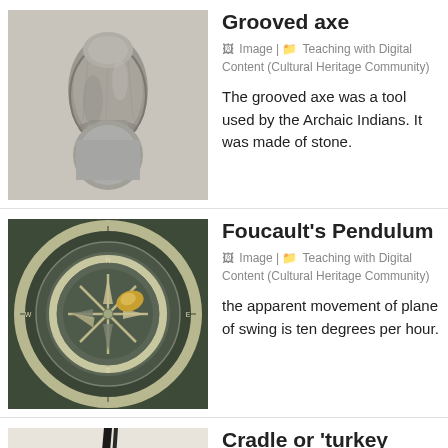[Figure (photo): Black and white photograph of a grooved axe stone tool]
Grooved axe
🖼 Image | 📁 Teaching with Digital Content (Cultural Heritage Community)
The grooved axe was a tool used by the Archaic Indians. It was made of stone.
[Figure (photo): Top-down photograph of a Foucault's Pendulum apparatus on a circular dial]
Foucault's Pendulum
🖼 Image | 📁 Teaching with Digital Content (Cultural Heritage Community)
the apparent movement of plane of swing is ten degrees per hour.
[Figure (photo): Partial view of a Cradle or turkey wing artifact]
Cradle or 'turkey wing'